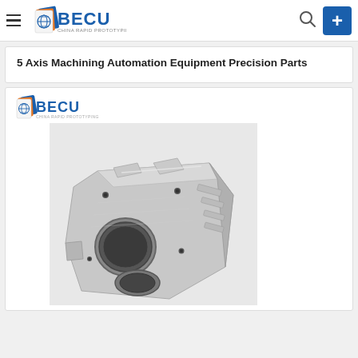BECU - China Rapid Prototyping Shop
5 Axis Machining Automation Equipment Precision Parts
[Figure (logo): BECU China Rapid Prototyping Shop logo inside content card]
[Figure (photo): Photograph of a precision-machined aluminum CNC part with multiple bores, holes, and complex geometry, showing 5-axis machining work on an automation equipment component]